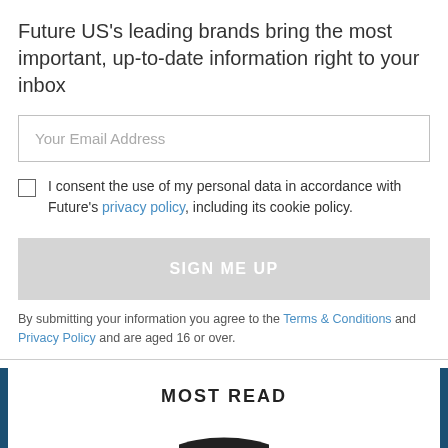Future US's leading brands bring the most important, up-to-date information right to your inbox
Your Email Address
I consent the use of my personal data in accordance with Future's privacy policy, including its cookie policy.
SIGN ME UP
By submitting your information you agree to the Terms & Conditions and Privacy Policy and are aged 16 or over.
MOST READ